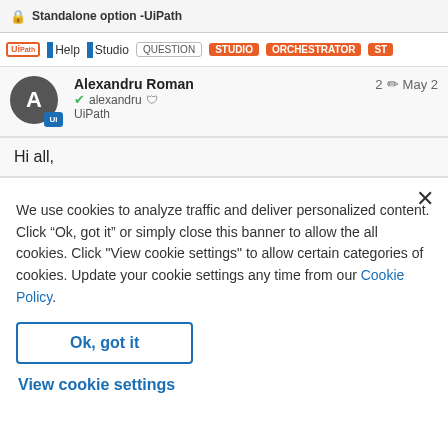Standalone option -UiPath
Help  Studio  QUESTION  STUDIO  ORCHESTRATOR  ST
Alexandru Roman
alexandru  UiPath
2  May 2
Hi all,
We use cookies to analyze traffic and deliver personalized content. Click “Ok, got it” or simply close this banner to allow the all cookies. Click "View cookie settings" to allow certain categories of cookies. Update your cookie settings any time from our Cookie Policy.
Ok, got it
View cookie settings